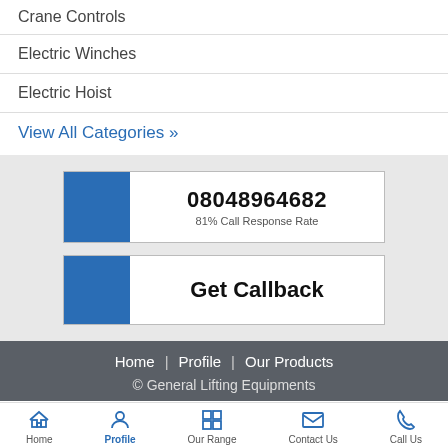Crane Controls
Electric Winches
Electric Hoist
View All Categories »
08048964682
81% Call Response Rate
Get Callback
Home | Profile | Our Products
© General Lifting Equipments
Home  Profile  Our Range  Contact Us  Call Us